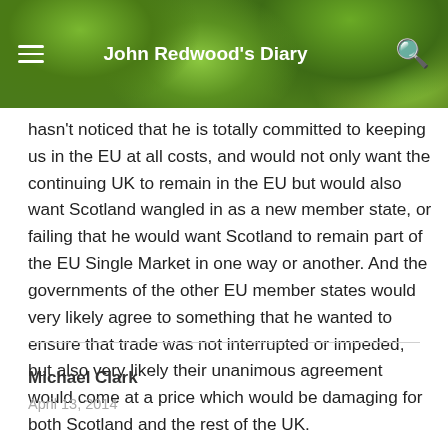John Redwood's Diary
hasn't noticed that he is totally committed to keeping us in the EU at all costs, and would not only want the continuing UK to remain in the EU but would also want Scotland wangled in as a new member state, or failing that he would want Scotland to remain part of the EU Single Market in one way or another. And the governments of the other EU member states would very likely agree to something that he wanted to ensure that trade was not interrupted or impeded, but also very likely their unanimous agreement would come at a price which would be damaging for both Scotland and the rest of the UK.
Michael Clark
April 13, 2014